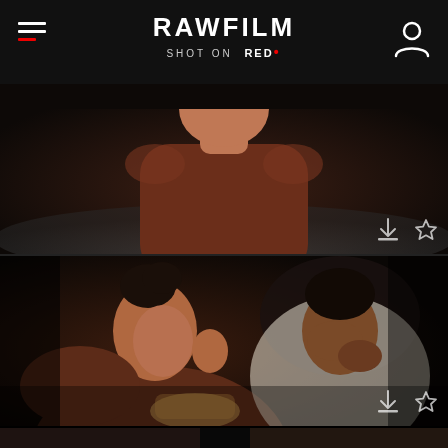RAWFILM — SHOT ON RED
[Figure (photo): Cinematic close-up of a young person in a brown sweatshirt seated on a grey sofa, upper torso visible, moody dark background]
[Figure (photo): Two people on a couch sharing popcorn, woman with braided hair smiling at camera, man in white shirt rubbing his eye, warm cinematic tone]
[Figure (photo): Partial view of a third video thumbnail at bottom of page, dark cinematic scene]